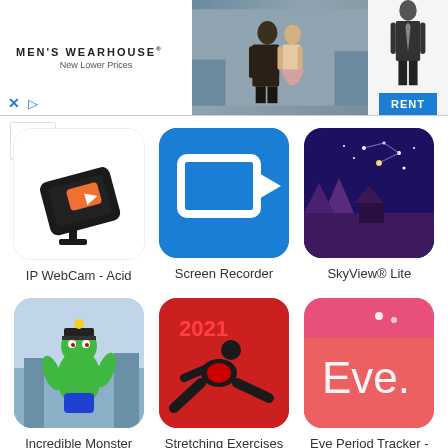[Figure (screenshot): Men's Wearhouse advertisement banner with logo, couple in formalwear, mannequin in suit, and RENT button]
[Figure (screenshot): App grid showing IP WebCam - Acid, Screen Recorder, SkyView Lite, Incredible Monster, Stretching Exercises, Eve Period Tracker apps]
Category
Action
Adventure